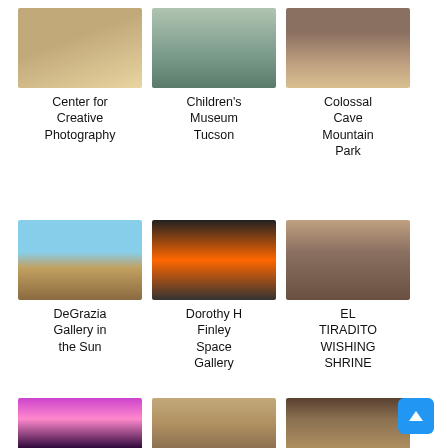[Figure (photo): Center for Creative Photography building exterior]
Center for Creative Photography
[Figure (photo): Children's Museum Tucson - close up of rocks/cacti exhibit]
Children's Museum Tucson
[Figure (photo): Colossal Cave Mountain Park gift shop shelves]
Colossal Cave Mountain Park
[Figure (photo): DeGrazia Gallery in the Sun outdoor grounds with desert plants]
DeGrazia Gallery in the Sun
[Figure (photo): Dorothy H Finley Space Gallery with orange space shuttle model]
Dorothy H Finley Space Gallery
[Figure (photo): El Tiradito Wishing Shrine stone archway]
EL TIRADITO WISHING SHRINE
[Figure (photo): Flandrau planetarium show with colorful light display]
Flandrau
[Figure (photo): Fort Lowell adobe ruins tunnel]
Fort Lowell
[Figure (photo): Franklin Auto Museum with classic cars on display]
Franklin